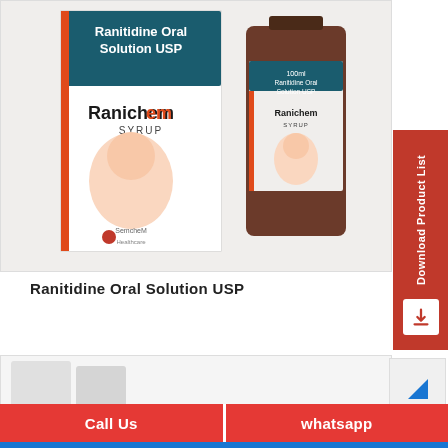[Figure (photo): Ranichem Syrup product — a white cardboard box and a brown glass bottle both labeled 'Ranitidine Oral Solution USP' and 'Ranichem SYRUP' with a baby photo and SemcheM Healthcare branding]
Download Product List
Ranitidine Oral Solution USP
[Figure (photo): Partial view of another product at the bottom of the page]
Call Us
whatsapp